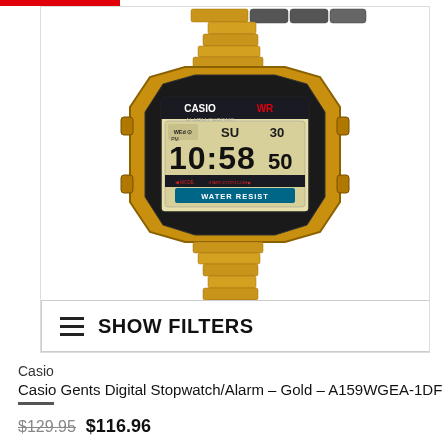[Figure (photo): Casio gold digital watch (A159WGEA-1DF) with metal bracelet, black digital display showing 10:58:50 SU 30, PM, ALARM CHRONO, WATER RESIST, Lithium.]
≡  SHOW FILTERS
Casio
Casio Gents Digital Stopwatch/Alarm – Gold – A159WGEA-1DF
$129.95  $116.96